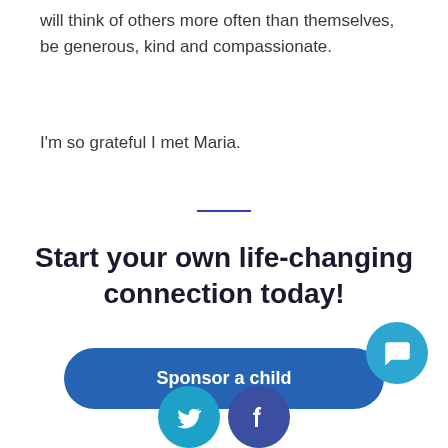will think of others more often than themselves, be generous, kind and compassionate.
I'm so grateful I met Maria.
Start your own life-changing connection today!
[Figure (other): Blue rounded rectangle button labeled 'Sponsor a child']
[Figure (other): Chat bubble icon (teal circle with speech bubble), Twitter bird icon (light blue circle), Facebook f icon (dark blue circle)]